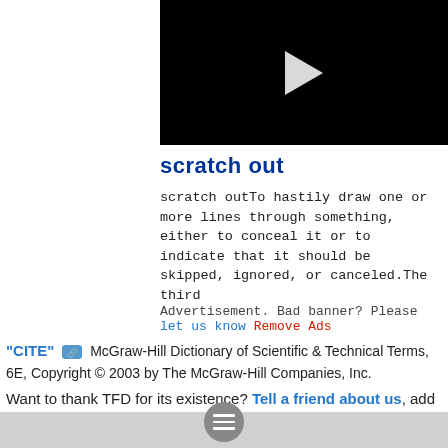[Figure (screenshot): Black video player thumbnail with white play button triangle in the center]
scratch out
scratch outTo hastily draw one or more lines through something, either to conceal it or to indicate that it should be skipped, ignored, or canceled.The third
Advertisement. Bad banner? Please let us know Remove Ads
“CITE” [link icon] McGraw-Hill Dictionary of Scientific & Technical Terms, 6E, Copyright © 2003 by The McGraw-Hill Companies, Inc.
Want to thank TFD for its existence? Tell a friend about us, add a link to this page, or visit the webmaster’s page for free fun content.
[Figure (screenshot): Gray bottom navigation bar with circular hamburger menu button]